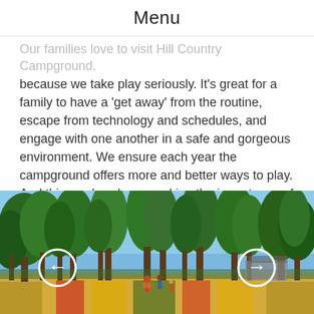Menu
Our families love to visit Hill Country Campground because we take play seriously. It's great for a family to have a 'get away' from the routine, escape from technology and schedules, and engage with one another in a safe and gorgeous environment. We ensure each year the campground offers more and better ways to play. And this week we're unpacking the importance of play!!!
[Figure (photo): Outdoor campground playground area with tall green trees, colorful play surface on the ground, and children playing. Navigation arrows (left and right) overlaid on the image.]